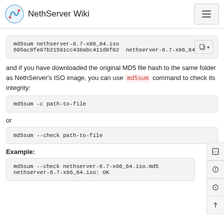NethServer Wiki
[Figure (screenshot): Code block showing: md5sum nethserver-6.7-x86_64.iso
695ac8fe87b21501cc438abc411d8f02  nethserver-6.7-x86_64.iso]
and if you have downloaded the original MD5 file hash to the same folder as NethServer's ISO image, you can use md5sum command to check its integrity:
[Figure (screenshot): Code block showing: md5sum -c path-to-file]
or
[Figure (screenshot): Code block showing: md5sum --check path-to-file]
Example:
[Figure (screenshot): Code block showing: md5sum --check nethserver-6.7-x86_64.iso.md5
nethserver-6.7-x86_64.iso: OK]